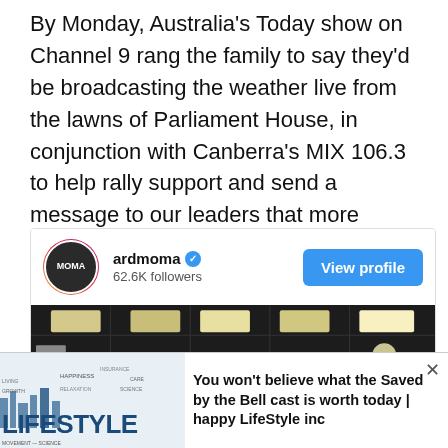By Monday, Australia's Today show on Channel 9 rang the family to say they'd be broadcasting the weather live from the lawns of Parliament House, in conjunction with Canberra's MIX 106.3 to help rally support and send a message to our leaders that more funding is desperately needed.
[Figure (screenshot): Instagram profile card for user 'ardmoma' with 62.6K followers, verified badge, 'View profile' button, and a photo showing a person's head/hair in a TV studio with ceiling lights visible.]
[Figure (infographic): Advertisement banner at bottom: lifestyle magazine image on left, text 'You won't believe what the Saved by the Bell cast is worth today | happy LifeStyle inc' on right, with X close button.]